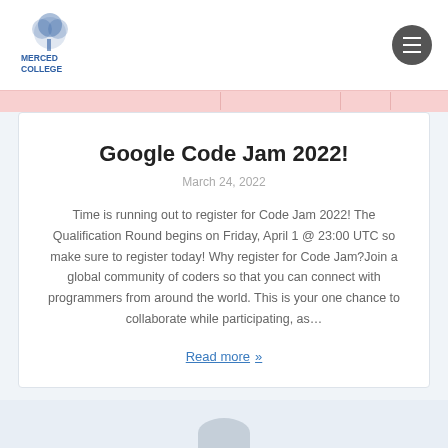Merced College
Google Code Jam 2022!
March 24, 2022
Time is running out to register for Code Jam 2022! The Qualification Round begins on Friday, April 1 @ 23:00 UTC so make sure to register today! Why register for Code Jam?Join a global community of coders so that you can connect with programmers from around the world. This is your one chance to collaborate while participating, as…
Read more »